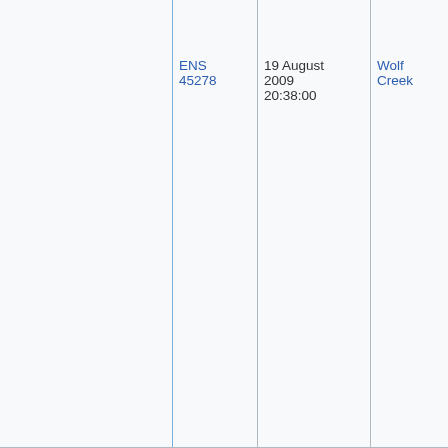|  | ENS 45278 | 19 August 2009 20:38:00 | Wolf Creek | Automatic Scram | N... |